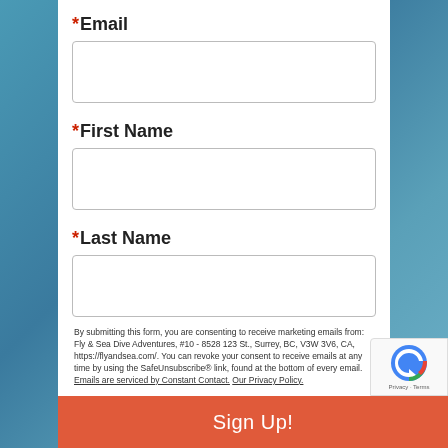*Email
[Figure (other): Empty text input field for Email]
*First Name
[Figure (other): Empty text input field for First Name]
*Last Name
[Figure (other): Empty text input field for Last Name]
By submitting this form, you are consenting to receive marketing emails from: Fly & Sea Dive Adventures, #10 - 8528 123 St., Surrey, BC, V3W 3V6, CA, https://flyandsea.com/. You can revoke your consent to receive emails at any time by using the SafeUnsubscribe® link, found at the bottom of every email. Emails are serviced by Constant Contact. Our Privacy Policy.
Sign Up!